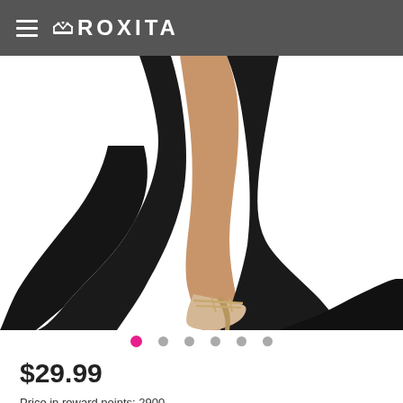ROXITA
[Figure (photo): Lower body of a model wearing a long black gown with a high slit, wearing gold/beige strappy high heel sandals, on a white background.]
$29.99
Price in reward points: 2900
Size
One Size